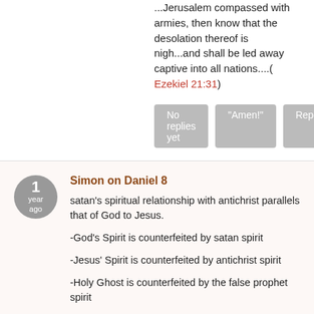...Jerusalem compassed with armies, then know that the desolation thereof is nigh...and shall be led away captive into all nations....( Ezekiel 21:31)
No replies yet | "Amen!" | Report
Simon on Daniel 8
satan's spiritual relationship with antichrist parallels that of God to Jesus.

-God's Spirit is counterfeited by satan spirit

-Jesus' Spirit is counterfeited by antichrist spirit

-Holy Ghost is counterfeited by the false prophet spirit

1) Jesus's ministry was 42 months

To: ( Revelation 13:5) antichrist receives 42 months

2) ( Revelation 1:8)

To ( Revelation 17:8)